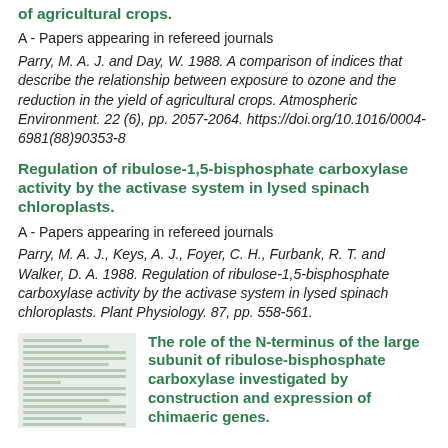of agricultural crops.
A - Papers appearing in refereed journals
Parry, M. A. J. and Day, W. 1988. A comparison of indices that describe the relationship between exposure to ozone and the reduction in the yield of agricultural crops. Atmospheric Environment. 22 (6), pp. 2057-2064. https://doi.org/10.1016/0004-6981(88)90353-8
Regulation of ribulose-1,5-bisphosphate carboxylase activity by the activase system in lysed spinach chloroplasts.
A - Papers appearing in refereed journals
Parry, M. A. J., Keys, A. J., Foyer, C. H., Furbank, R. T. and Walker, D. A. 1988. Regulation of ribulose-1,5-bisphosphate carboxylase activity by the activase system in lysed spinach chloroplasts. Plant Physiology. 87, pp. 558-561.
[Figure (other): Thumbnail image of a scientific paper/document page]
The role of the N-terminus of the large subunit of ribulose-bisphosphate carboxylase investigated by construction and expression of chimaeric genes.